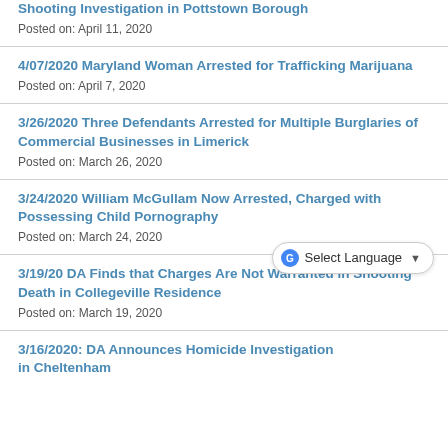Shooting Investigation in Pottstown Borough
Posted on: April 11, 2020
4/07/2020 Maryland Woman Arrested for Trafficking Marijuana
Posted on: April 7, 2020
3/26/2020 Three Defendants Arrested for Multiple Burglaries of Commercial Businesses in Limerick
Posted on: March 26, 2020
3/24/2020 William McGullam Now Arrested, Charged with Possessing Child Pornography
Posted on: March 24, 2020
3/19/20 DA Finds that Charges Are Not Warranted in Shooting Death in Collegeville Residence
Posted on: March 19, 2020
3/16/2020: DA Announces Homicide Investigation in Cheltenham